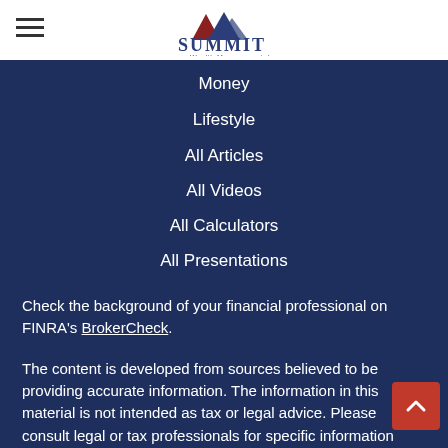Summit Wealth Management, Inc.
Money
Lifestyle
All Articles
All Videos
All Calculators
All Presentations
Check the background of your financial professional on FINRA's BrokerCheck.
The content is developed from sources believed to be providing accurate information. The information in this material is not intended as tax or legal advice. Please consult legal or tax professionals for specific information regarding your individual situation. Some of this material was developed and